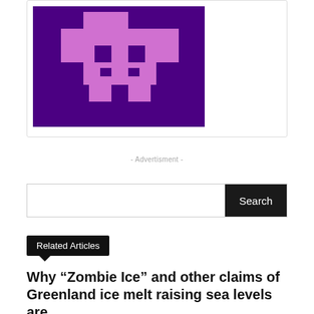[Figure (illustration): Pixel art logo on dark purple background with pink/light-purple pixel cross/character shape]
- Advertisment -
Search
Related Articles
Why “Zombie Ice” and other claims of Greenland ice melt raising sea levels are